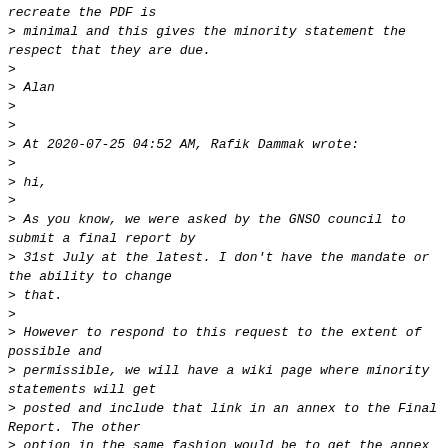recreate the PDF is
> minimal and this gives the minority statement the respect that they are due.
>
> Alan
>
>
> At 2020-07-25 04:52 AM, Rafik Dammak wrote:
>
> hi,
>
> As you know, we were asked by the GNSO council to submit a final report by
> 31st July at the latest. I don't have the mandate or the ability to change
> that.
>
> However to respond to this request to the extent of possible and
> permissible, we will have a wiki page where minority statements will get
> posted and include that link in an annex to the Final Report. The other
> option in the same fashion would be to get the annex attached to the final
> report when ready and still submitting the final report by the deadline.
> Whatever is received by the deadline will go in immediately into the report
> and anything after that will just get added later.